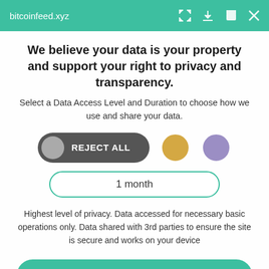bitcoinfeed.xyz
We believe your data is your property and support your right to privacy and transparency.
Select a Data Access Level and Duration to choose how we use and share your data.
[Figure (infographic): Reject All toggle button (dark gray with gray circle on left), gold circle option, purple circle option, and a duration selector showing '1 month' with teal border]
Highest level of privacy. Data accessed for necessary basic operations only. Data shared with 3rd parties to ensure the site is secure and works on your device
Save my preferences
Customize
Privacy policy